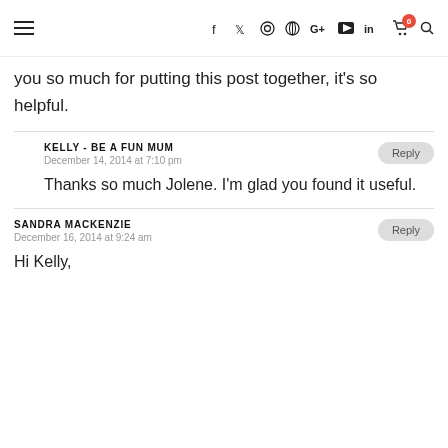≡ f 𝕏 ⊙ ⊕ G+ ▶ in 🛒0 🔍
you so much for putting this post together, it's so helpful.
KELLY - BE A FUN MUM
December 14, 2014 at 7:10 pm
Thanks so much Jolene. I'm glad you found it useful.
SANDRA MACKENZIE
December 16, 2014 at 9:24 am
Hi Kelly,